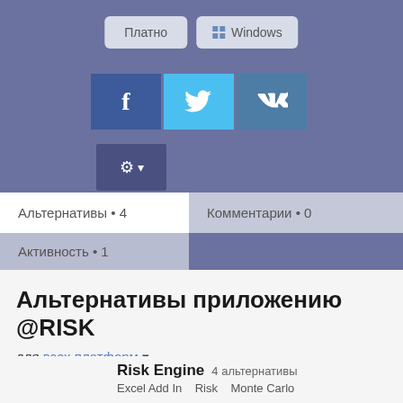[Figure (screenshot): UI buttons: Платно and Windows]
[Figure (screenshot): Social share buttons: Facebook, Twitter, VK]
[Figure (screenshot): Gear/settings button]
Альтернативы • 4
Комментарии • 0
Активность • 1
Альтернативы приложению @RISK
для всех платформ ▼
с любой лицензией ▼
Risk Engine    4 альтернативы
Excel Add In    Risk    Monte Carlo